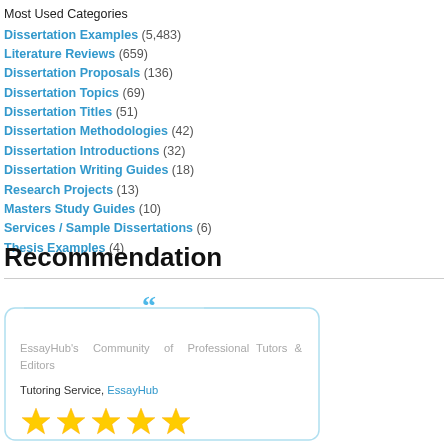Most Used Categories
Dissertation Examples (5,483)
Literature Reviews (659)
Dissertation Proposals (136)
Dissertation Topics (69)
Dissertation Titles (51)
Dissertation Methodologies (42)
Dissertation Introductions (32)
Dissertation Writing Guides (18)
Research Projects (13)
Masters Study Guides (10)
Services / Sample Dissertations (6)
Thesis Examples (4)
Recommendation
[Figure (other): Recommendation box with quote marks, text 'EssayHub's Community of Professional Tutors & Editors', Tutoring Service EssayHub link, and five gold stars rating]